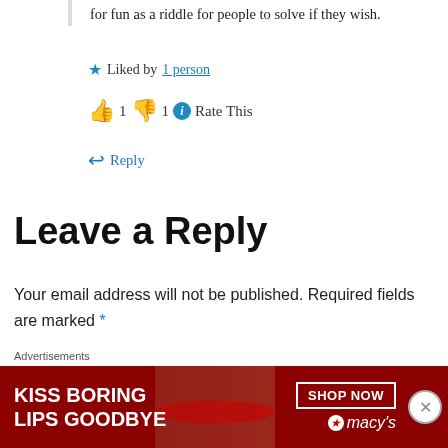for fun as a riddle for people to solve if they wish.
Liked by 1 person
👍 1 👎 1 ℹ Rate This
Reply
Leave a Reply
Your email address will not be published. Required fields are marked *
Comment *
Advertisements
[Figure (other): Macy's advertisement banner: KISS BORING LIPS GOODBYE with SHOP NOW button and Macy's logo]